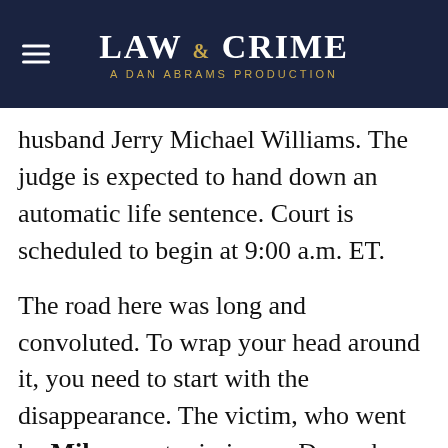LAW & CRIME — A DAN ABRAMS PRODUCTION
husband Jerry Michael Williams. The judge is expected to hand down an automatic life sentence. Court is scheduled to begin at 9:00 a.m. ET.
The road here was long and convoluted. To wrap your head around it, you need to start with the disappearance. The victim, who went by Mike, went missing on December 16, 2000 while on a hunting trip to Lake Seminole, which is northwest of Tallahassee. Investigators found no body. Some people believed he was eaten by an alligator. Whatever the case, he was quickly presumed dead. Testimony at trial established that loved ones held